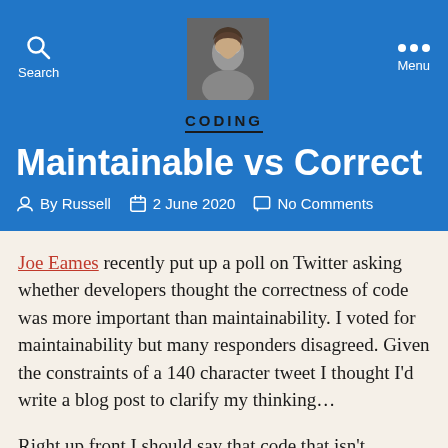Search   CODING   Menu
Maintainable vs Correct
By Russell   2 June 2020   No Comments
Joe Eames recently put up a poll on Twitter asking whether developers thought the correctness of code was more important than maintainability. I voted for maintainability but many responders disagreed. Given the constraints of a 140 character tweet I thought I’d write a blog post to clarify my thinking…
Right up front I should say that code that isn’t maintainable doesn’t meet my yardstick for correct, which kind of renders the question moot, but I shall